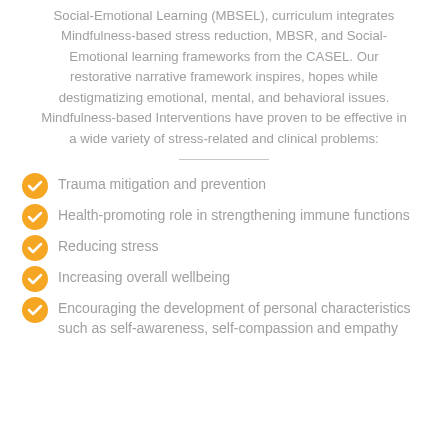Social-Emotional Learning (MBSEL), curriculum integrates Mindfulness-based stress reduction, MBSR, and Social-Emotional learning frameworks from the CASEL. Our restorative narrative framework inspires, hopes while destigmatizing emotional, mental, and behavioral issues. Mindfulness-based Interventions have proven to be effective in a wide variety of stress-related and clinical problems:
Trauma mitigation and prevention
Health-promoting role in strengthening immune functions
Reducing stress
Increasing overall wellbeing
Encouraging the development of personal characteristics such as self-awareness, self-compassion and empathy